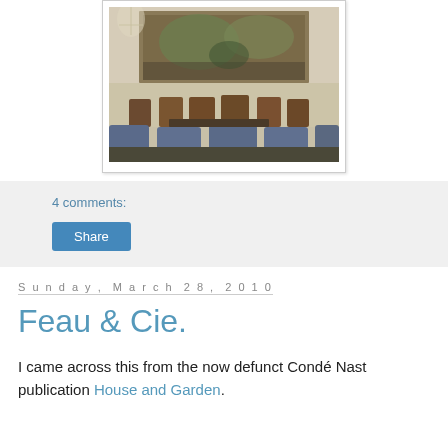[Figure (photo): Interior room with ornate painting on wall above wooden chairs, blue upholstered armchairs, crystal chandelier visible, elegant classical decor]
4 comments:
Share
Sunday, March 28, 2010
Feau & Cie.
I came across this from the now defunct Condé Nast publication House and Garden.